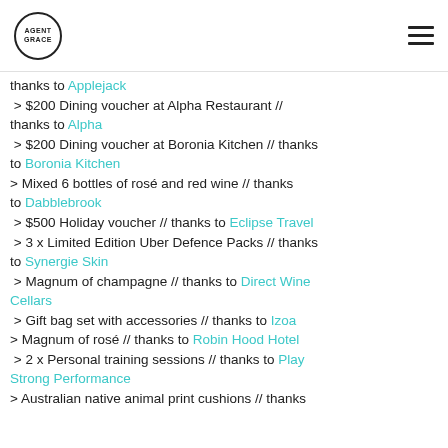AGENT GRACE logo and hamburger menu
thanks to Applejack
> $200 Dining voucher at Alpha Restaurant // thanks to Alpha
> $200 Dining voucher at Boronia Kitchen // thanks to Boronia Kitchen
> Mixed 6 bottles of rosé and red wine // thanks to Dabblebrook
> $500 Holiday voucher // thanks to Eclipse Travel
> 3 x Limited Edition Uber Defence Packs // thanks to Synergie Skin
> Magnum of champagne // thanks to Direct Wine Cellars
> Gift bag set with accessories // thanks to Izoa
> Magnum of rosé // thanks to Robin Hood Hotel
> 2 x Personal training sessions // thanks to Play Strong Performance
> Australian native animal print cushions // thanks